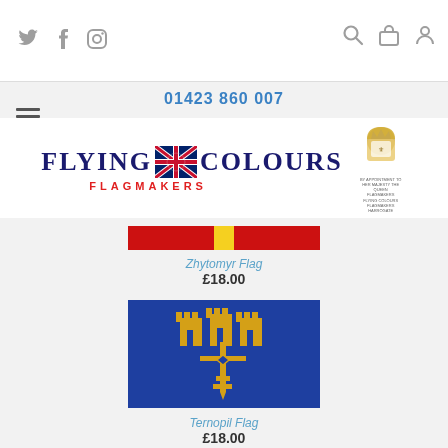Flying Colours Flagmakers - 01423 860 007
01423 860 007
[Figure (logo): Flying Colours Flagmakers logo with Union Jack and royal warrant badge]
[Figure (photo): Zhytomyr Flag - red flag with yellow vertical stripe]
Zhytomyr Flag
£18.00
[Figure (photo): Ternopil Flag - blue flag with gold towers and sword/key cross emblem]
Ternopil Flag
£18.00